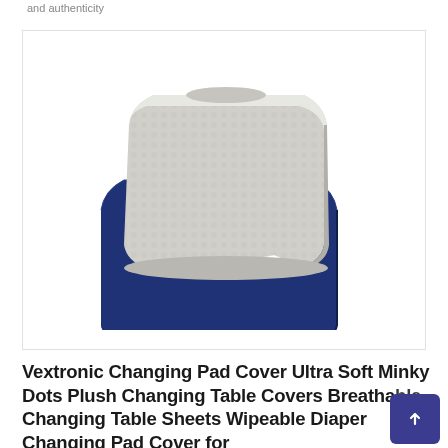and authenticity
[Figure (photo): Two stacked changing pad covers: one light gray with minky dots texture on top and one navy blue on the bottom, viewed at an angle.]
Vextronic Changing Pad Cover Ultra Soft Minky Dots Plush Changing Table Covers Breathable Changing Table Sheets Wipeable Diaper Changing Pad Cover for